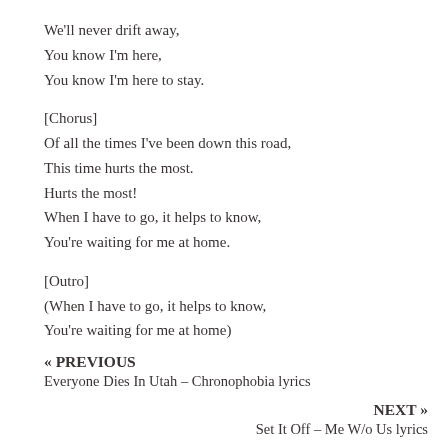We'll never drift away,
You know I'm here,
You know I'm here to stay.
[Chorus]
Of all the times I've been down this road,
This time hurts the most.
Hurts the most!
When I have to go, it helps to know,
You're waiting for me at home.
[Outro]
(When I have to go, it helps to know,
You're waiting for me at home)
« PREVIOUS
Everyone Dies In Utah – Chronophobia lyrics
NEXT »
Set It Off – Me W/o Us lyrics